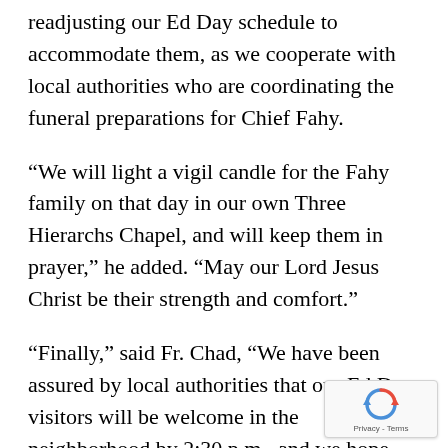readjusting our Ed Day schedule to accommodate them, as we cooperate with local authorities who are coordinating the funeral preparations for Chief Fahy.
“We will light a vigil candle for the Fahy family on that day in our own Three Hierarchs Chapel, and will keep them in prayer,” he added. “May our Lord Jesus Christ be their strength and comfort.”
“Finally,” said Fr. Chad, “We have been assured by local authorities that our Ed Day visitors will be welcome in the neighborhood by 2:30 p.m., and we hope they still will loyally su the Seminary by coming onto campus and